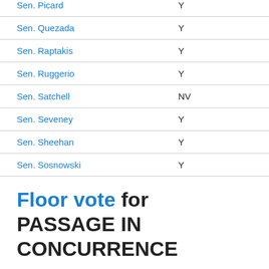| Senator | Vote |
| --- | --- |
| Sen. Picard | Y |
| Sen. Quezada | Y |
| Sen. Raptakis | Y |
| Sen. Ruggerio | Y |
| Sen. Satchell | NV |
| Sen. Seveney | Y |
| Sen. Sheehan | Y |
| Sen. Sosnowski | Y |
Floor vote for PASSAGE IN CONCURRENCE